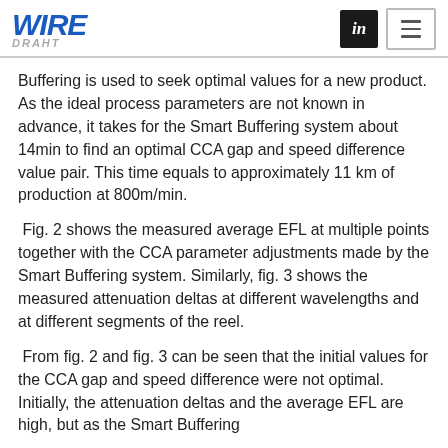WIRE DRAHT
Buffering is used to seek optimal values for a new product. As the ideal process parameters are not known in advance, it takes for the Smart Buffering system about 14min to find an optimal CCA gap and speed difference value pair. This time equals to approximately 11 km of production at 800m/min.
Fig. 2 shows the measured average EFL at multiple points together with the CCA parameter adjustments made by the Smart Buffering system. Similarly, fig. 3 shows the measured attenuation deltas at different wavelengths and at different segments of the reel.
From fig. 2 and fig. 3 can be seen that the initial values for the CCA gap and speed difference were not optimal. Initially, the attenuation deltas and the average EFL are high, but as the Smart Buffering